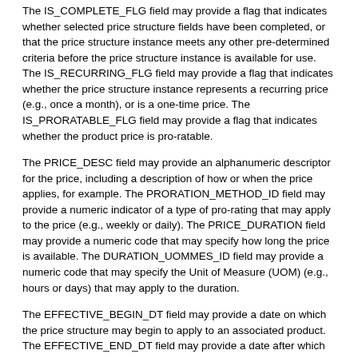The IS_COMPLETE_FLG field may provide a flag that indicates whether selected price structure fields have been completed, or that the price structure instance meets any other pre-determined criteria before the price structure instance is available for use. The IS_RECURRING_FLG field may provide a flag that indicates whether the price structure instance represents a recurring price (e.g., once a month), or is a one-time price. The IS_PRORATABLE_FLG field may provide a flag that indicates whether the product price is pro-ratable.
The PRICE_DESC field may provide an alphanumeric descriptor for the price, including a description of how or when the price applies, for example. The PRORATION_METHOD_ID field may provide a numeric indicator of a type of pro-rating that may apply to the price (e.g., weekly or daily). The PRICE_DURATION field may provide a numeric code that may specify how long the price is available. The DURATION_UOMMES_ID field may provide a numeric code that may specify the Unit of Measure (UOM) (e.g., hours or days) that may apply to the duration.
The EFFECTIVE_BEGIN_DT field may provide a date on which the price structure may begin to apply to an associated product. The EFFECTIVE_END_DT field may provide a date after which the price structure no longer applies to an associated product. The MANUAL_PRICE_ID field may establish a price identifier, for example for a